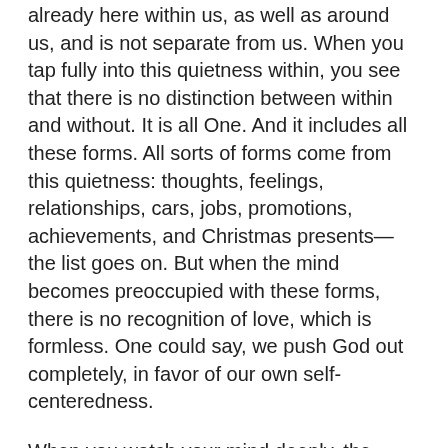already here within us, as well as around us, and is not separate from us. When you tap fully into this quietness within, you see that there is no distinction between within and without. It is all One. And it includes all these forms. All sorts of forms come from this quietness: thoughts, feelings, relationships, cars, jobs, promotions, achievements, and Christmas presents—the list goes on. But when the mind becomes preoccupied with these forms, there is no recognition of love, which is formless. One could say, we push God out completely, in favor of our own self-centeredness.
When you watch your mind deeply, the incessant mental activity stops, even if only for a moment. You are mentally at rest. There is peace. Quietness. You have tapped into what Bobby has tapped into. That quietness is who you are. Rest there whenever you notice it. You are resting into your true nature. Watch thought as soon as it comes back in and that watching helps you to realize the quietness that is already here. Watching opens you up to the quietness—to the truth